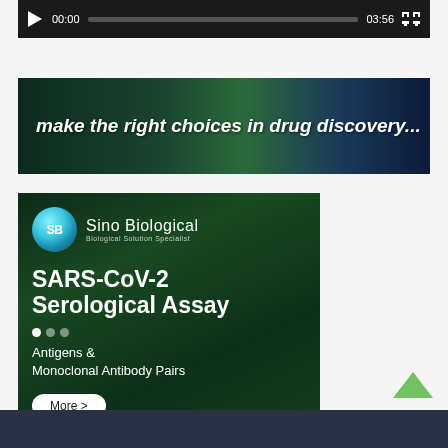[Figure (screenshot): Video player control bar showing play button, timestamp 00:00, progress bar, end time 03:56, and fullscreen icon on dark background]
[Figure (photo): Wide banner advertisement with dark green and blue gradient background showing lab equipment, text: 'make the right choices in drug discovery...']
[Figure (photo): Sino Biological advertisement showing SARS-CoV-2 Serological Assay product with green microscopy images of virus particles, logo, tagline 'Biological Solution Specialist', dots navigation, text 'Antigens & Monoclonal Antibody Pairs', and More > button]
[Figure (illustration): Green chevron/arrow pointing upward (back to top button)]